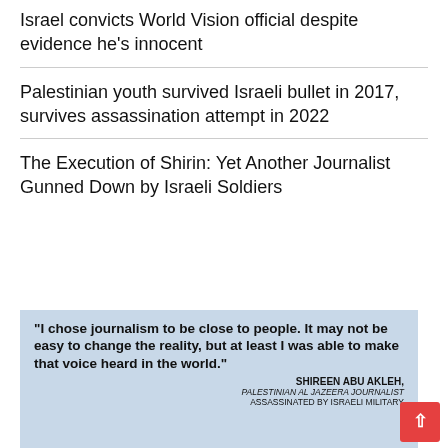Israel convicts World Vision official despite evidence he's innocent
Palestinian youth survived Israeli bullet in 2017, survives assassination attempt in 2022
The Execution of Shirin: Yet Another Journalist Gunned Down by Israeli Soldiers
[Figure (infographic): Quote image with light blue background showing a quote by Shireen Abu Akleh: "I chose journalism to be close to people. It may not be easy to change the reality, but at least I was able to make that voice heard in the world." Attributed to SHIREEN ABU AKLEH, PALESTINIAN AL JAZEERA JOURNALIST ASSASSINATED BY ISRAELI MILITARY]